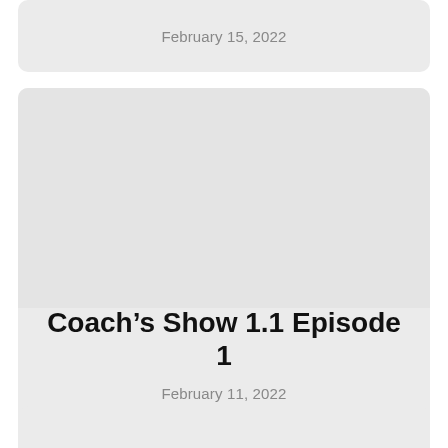February 15, 2022
[Figure (other): Large gray placeholder card area]
Coach’s Show 1.1 Episode 1
February 11, 2022